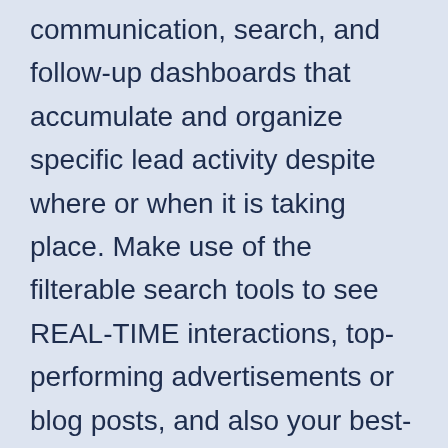communication, search, and follow-up dashboards that accumulate and organize specific lead activity despite where or when it is taking place. Make use of the filterable search tools to see REAL-TIME interactions, top-performing advertisements or blog posts, and also your best-involved leads at a look, all personalized to your unique business demands.
Live Tracker – Live Tracker is an aggregated, real-time INVOLVEMENT